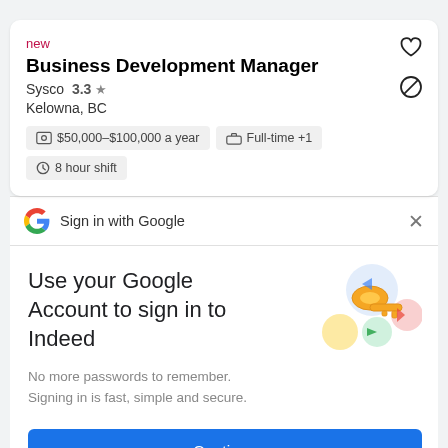new
Business Development Manager
Sysco  3.3 ★
Kelowna, BC
$50,000–$100,000 a year
Full-time +1
8 hour shift
Sign in with Google
Use your Google Account to sign in to Indeed
No more passwords to remember. Signing in is fast, simple and secure.
Continue